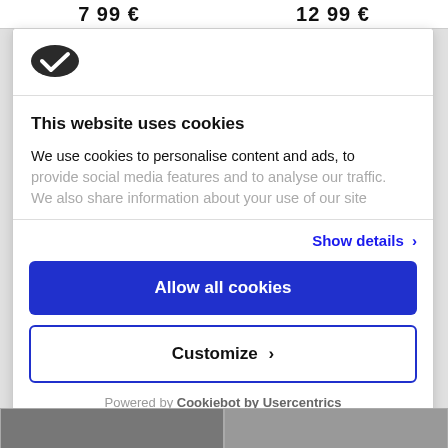7 99 € / 12 99 €
[Figure (logo): Cookiebot shield/checkmark logo — dark oval with white checkmark]
This website uses cookies
We use cookies to personalise content and ads, to provide social media features and to analyse our traffic. We also share information about your use of our site
Show details >
Allow all cookies
Customize >
Powered by Cookiebot by Usercentrics